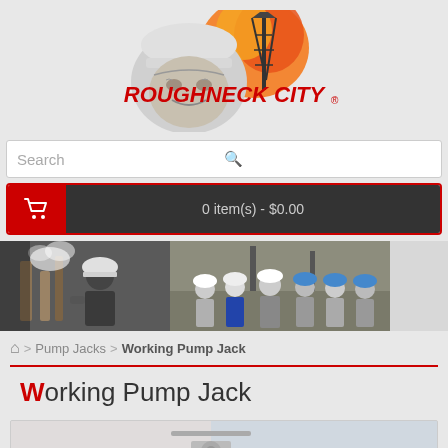[Figure (logo): Roughneck City logo with oil worker, oil rig, flames, and bold red text reading ROUGHNECK CITY with registered trademark symbol]
[Figure (screenshot): Search bar with placeholder text Search and magnifying glass icon]
[Figure (screenshot): Shopping cart bar showing 0 item(s) - $0.00 with red cart icon box on left and dark gray text area]
[Figure (photo): Banner strip with three photos: oilfield worker with steam, group of workers in hard hats, and partial white wall]
Pump Jacks > Working Pump Jack
Working Pump Jack
[Figure (photo): Partial view of a product image at the bottom of the page]